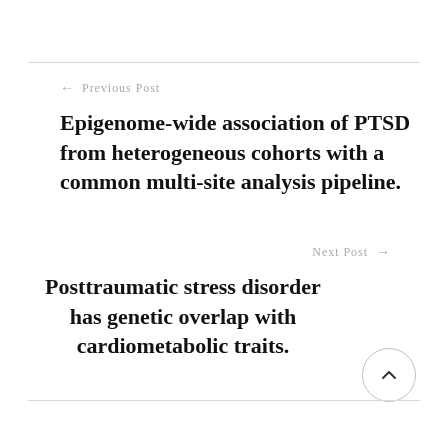← Previous Post
Epigenome-wide association of PTSD from heterogeneous cohorts with a common multi-site analysis pipeline.
Next Post →
Posttraumatic stress disorder has genetic overlap with cardiometabolic traits.